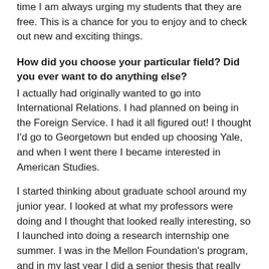time I am always urging my students that they are free. This is a chance for you to enjoy and to check out new and exciting things.
How did you choose your particular field? Did you ever want to do anything else?
I actually had originally wanted to go into International Relations. I had planned on being in the Foreign Service. I had it all figured out! I thought I'd go to Georgetown but ended up choosing Yale, and when I went there I became interested in American Studies.
I started thinking about graduate school around my junior year. I looked at what my professors were doing and I thought that looked really interesting, so I launched into doing a research internship one summer. I was in the Mellon Foundation's program, and in my last year I did a senior thesis that really gave me some exposure to what this research animal is like and if I could do anything of